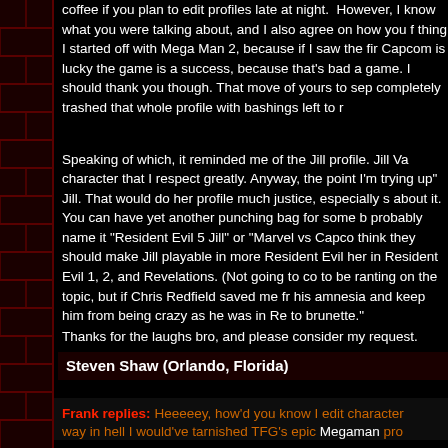coffee if you plan to edit profiles late at night. However, I know what you were talking about, and I also agree on how you feel. Good thing I started off with Mega Man 2, because if I saw the first one, Capcom is lucky the game is a success, because that's bad at making game. I should thank you though. That move of yours to sep completely trashed that whole profile with bashings left to r
Speaking of which, it reminded me of the Jill profile. Jill Va character that I respect greatly. Anyway, the point I'm trying up" Jill. That would do her profile much justice, especially about it. You can have yet another punching bag for some b probably name it "Resident Evil 5 Jill" or "Marvel vs Capco think they should make Jill playable in more Resident Evil her in Resident Evil 1, 2, and Revelations. (Not going to co to be ranting on the topic, but if Chris Redfield saved me fr his amnesia and keep him from being crazy as he was in Re to brunette."
Thanks for the laughs bro, and please consider my request.
Steven Shaw (Orlando, Florida)
Frank replies: Heeeeey, how'd you know I edit character way in hell I would've tarnished TFG's epic Megaman pro